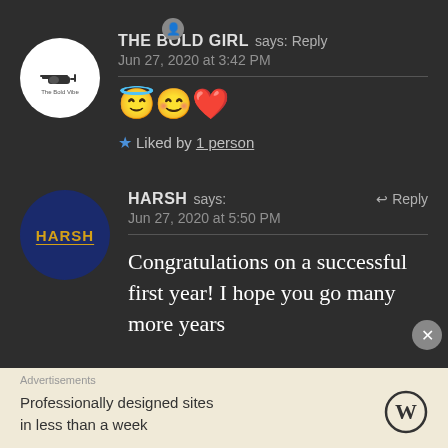THE BOLD GIRL says: Reply
Jun 27, 2020 at 3:42 PM
😇😊❤️
★ Liked by 1 person
HARSH says: Reply
Jun 27, 2020 at 5:50 PM
Congratulations on a successful first year! I hope you go many more years
Advertisements
Professionally designed sites in less than a week